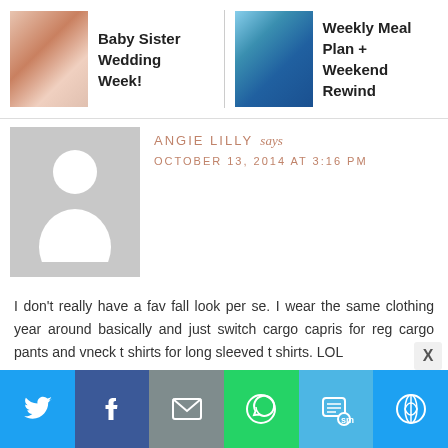Baby Sister Wedding Week! | Weekly Meal Plan + Weekend Rewind
ANGIE LILLY says
OCTOBER 13, 2014 AT 3:16 PM
I don't really have a fav fall look per se. I wear the same clothing year around basically and just switch cargo capris for reg cargo pants and vneck t shirts for long sleeved t shirts. LOL
Angie
14earth at gmail dot com